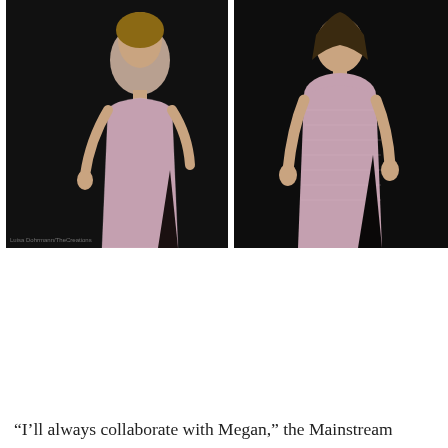[Figure (photo): Two side-by-side event photos of a woman wearing a sparkly pink/rose gold form-fitting gown with a slit, photographed against a dark backdrop with 'GOOD MORNING' text visible. Left photo shows a side/rear view, right photo shows a front/side view.]
“I’ll always collaborate with Megan,” the Mainstream